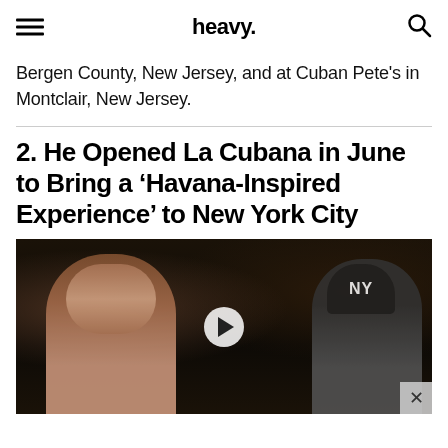heavy.
Bergen County, New Jersey, and at Cuban Pete's in Montclair, New Jersey.
2. He Opened La Cubana in June to Bring a 'Havana-Inspired Experience' to New York City
[Figure (photo): Video thumbnail showing two people in a dimly lit restaurant setting. A woman with dark hair is visible on the left, and a man wearing a New York Yankees cap and glasses is on the right. A play button overlay is in the center and a close (X) button is in the bottom right corner.]